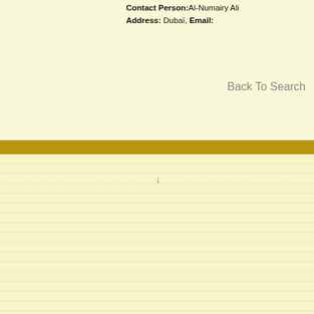Contact Person: Al-Numairy Ali
Address: Dubai, Email:
Back To Search
↓